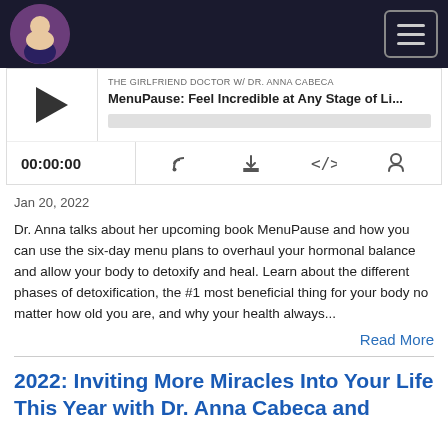THE GIRLFRIEND DOCTOR W/ DR. ANNA CABECA — MenuPause: Feel Incredible at Any Stage of Li...
00:00:00
Jan 20, 2022
Dr. Anna talks about her upcoming book MenuPause and how you can use the six-day menu plans to overhaul your hormonal balance and allow your body to detoxify and heal. Learn about the different phases of detoxification, the #1 most beneficial thing for your body no matter how old you are, and why your health always...
Read More
2022: Inviting More Miracles Into Your Life This Year with Dr. Anna Cabeca and